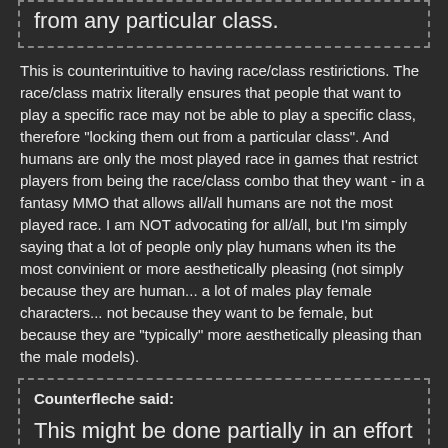to pretty much anyone while not locking them out from any particular class.
This is counterintuitive to having race/class restirictions. The race/class matrix literally ensures that people that want to play a specific race may not be able to play a specific class, therefore "locking them out from a particular class". And humans are only the most played race in games that restrict players from being the race/class combo that they want - in a fantasy MMO that allows all/all humans are not the most played race. I am NOT advocating for all/all, but I'm simply saying that a lot of people only play humans when its the most convinient or more aesthetically pleasing (not simply because they are human... a lot of males play female characters... not because they want to be female, but because they are "typically" more aesthetically pleasing than the male models).
Counterfleche said:
This might be done partially in an effort to make a main city everyone can go to. It would have trainers for every class and its neutrality potentially means every race / alignment is welcome.